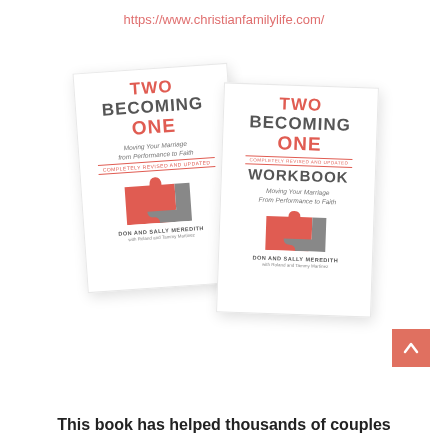https://www.christianfamilylife.com/
[Figure (photo): Two book covers side by side: 'Two Becoming One' (main book) and 'Two Becoming One Workbook', both by Don and Sally Meredith with Roland and Tammy Martinez. Each cover features interlocking puzzle pieces in coral/red and gray colors. A coral scroll-up button arrow is visible on the right side.]
This book has helped thousands of couples